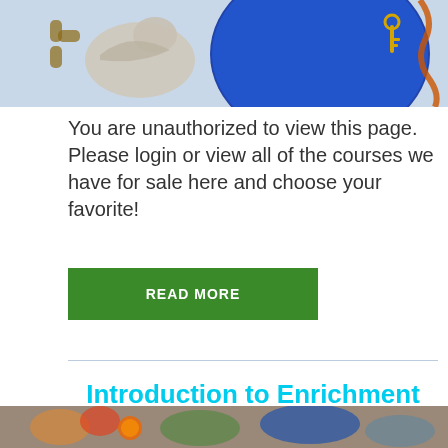[Figure (photo): Partial view of a bird with colorful background including a blue ball and chain]
You are unauthorized to view this page.  Please login or view all of the courses we have for sale here and choose your favorite!
[Figure (other): Green READ MORE button]
Introduction to Enrichment Safety
[Figure (photo): Partial view of birds at bottom of page]